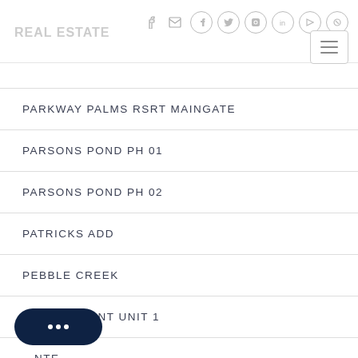Navigation header with social icons and hamburger menu
PARKWAY PALMS RSRT MAINGATE
PARSONS POND PH 01
PARSONS POND PH 02
PATRICKS ADD
PEBBLE CREEK
PEBBLE POINT UNIT 1
...NTE